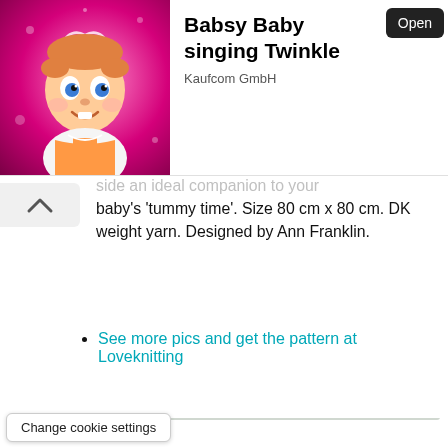[Figure (screenshot): App advertisement banner: Babsy Baby singing Twinkle by Kaufcom GmbH with animated baby character on pink background and Open button]
side an ideal companion to your baby's ‘tummy time’. Size 80 cm x 80 cm. DK weight yarn. Designed by Ann Franklin.
See more pics and get the pattern at Loveknitting
[Figure (photo): Photo of colorful pastel knitted baby blankets draped over a white chair, with a blue teddy bear and flower arrangement in background]
Change cookie settings